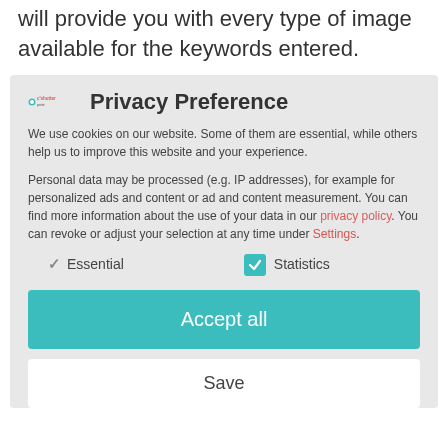will provide you with every type of image available for the keywords entered.
Privacy Preference
We use cookies on our website. Some of them are essential, while others help us to improve this website and your experience.
Personal data may be processed (e.g. IP addresses), for example for personalized ads and content or ad and content measurement. You can find more information about the use of your data in our privacy policy. You can revoke or adjust your selection at any time under Settings.
Essential
Statistics
Accept all
Save